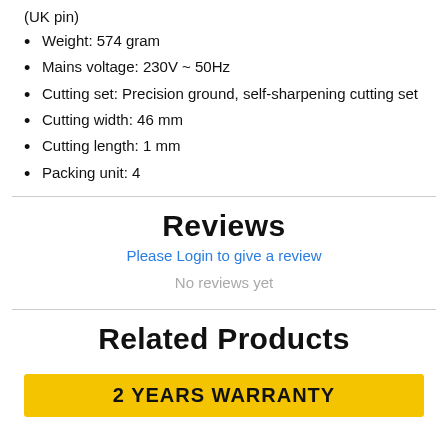(UK pin)
Weight: 574 gram
Mains voltage: 230V ~ 50Hz
Cutting set: Precision ground, self-sharpening cutting set
Cutting width: 46 mm
Cutting length: 1 mm
Packing unit: 4
Reviews
Please Login to give a review
No reviews yet
Related Products
2 YEARS WARRANTY